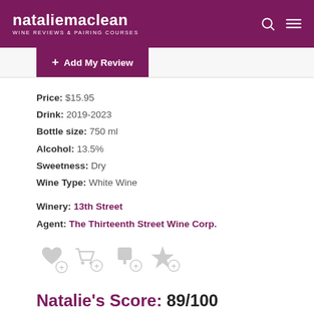nataliemaclean WINE REVIEWS & PAIRING COURSES
+ Add My Review
Price: $15.95
Drink: 2019-2023
Bottle size: 750 ml
Alcohol: 13.5%
Sweetness: Dry
Wine Type: White Wine
Winery: 13th Street
Agent: The Thirteenth Street Wine Corp.
[Figure (infographic): Row of four icon buttons: heart/wishlist, shopping cart, cellar/glass, star/rating — each with a small plus circle overlay]
Natalie's Score: 89/100